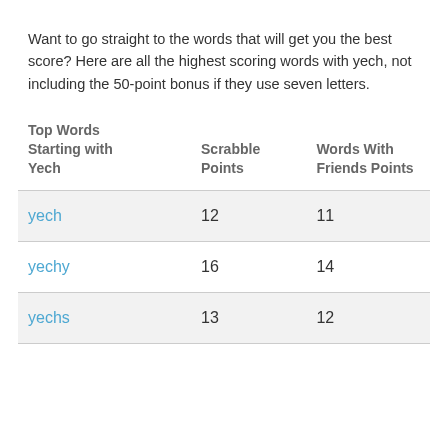Want to go straight to the words that will get you the best score? Here are all the highest scoring words with yech, not including the 50-point bonus if they use seven letters.
| Top Words Starting with Yech | Scrabble Points | Words With Friends Points |
| --- | --- | --- |
| yech | 12 | 11 |
| yechy | 16 | 14 |
| yechs | 13 | 12 |